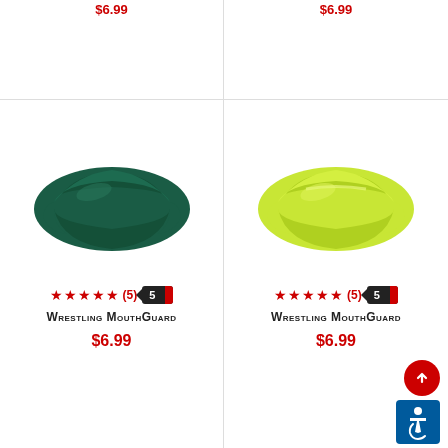[Figure (photo): Dark green wrestling mouthguard product image]
[Figure (photo): Lime/yellow-green wrestling mouthguard product image]
★★★★★(5)  5  Wrestling MouthGuard  $6.99
★★★★★(5)  5  Wrestling MouthGuard  $6.99